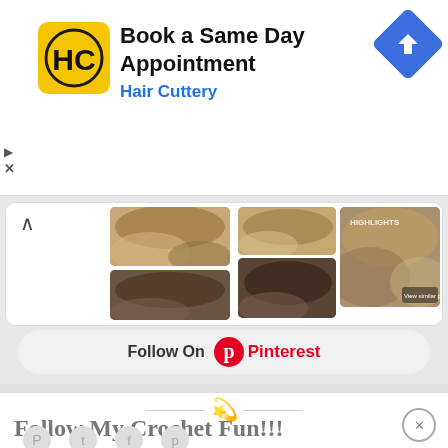[Figure (screenshot): Hair Cuttery advertisement banner with yellow HC logo, text 'Book a Same Day Appointment' and 'Hair Cuttery' in blue, blue navigation arrow icon on right]
[Figure (screenshot): Pinterest widget showing grid of hair highlight photos with Follow On Pinterest button]
Book a Same Day Appointment
Hair Cuttery
Follow On Pinterest
Follow My Crochet Fun!!!